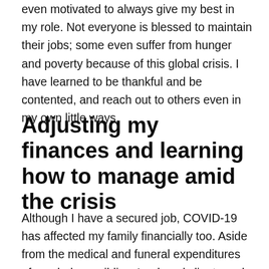even motivated to always give my best in my role. Not everyone is blessed to maintain their jobs; some even suffer from hunger and poverty because of this global crisis. I have learned to be thankful and be contented, and reach out to others even in my own little ways.
Adjusting my finances and learning how to manage amid the crisis
Although I have a secured job, COVID-19 has affected my family financially too. Aside from the medical and funeral expenditures of my dad, my siblings' reduced clients and paid gigs somehow affected our financial state. Because of the lockdown,